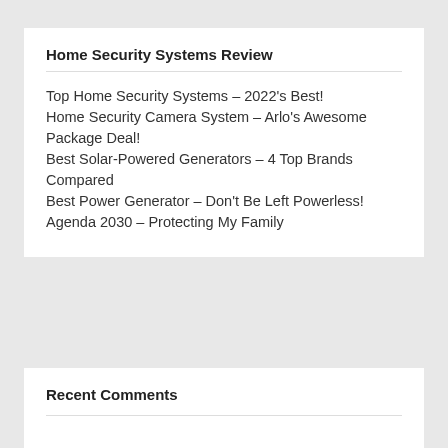Home Security Systems Review
Top Home Security Systems – 2022's Best!
Home Security Camera System – Arlo's Awesome Package Deal!
Best Solar-Powered Generators – 4 Top Brands Compared
Best Power Generator – Don't Be Left Powerless!
Agenda 2030 – Protecting My Family
Recent Comments